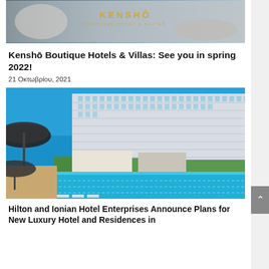[Figure (photo): Kenshō Boutique Hotel & Suites logo on a light stone/spa background with decorative objects]
Kenshō Boutique Hotels & Villas: See you in spring 2022!
21 Οκτωβρίου, 2021
[Figure (photo): Luxury hotel exterior with large pool, palm trees, lounge chairs, and umbrellas in foreground; tall modern hotel building in background under blue sky]
Hilton and Ionian Hotel Enterprises Announce Plans for New Luxury Hotel and Residences in